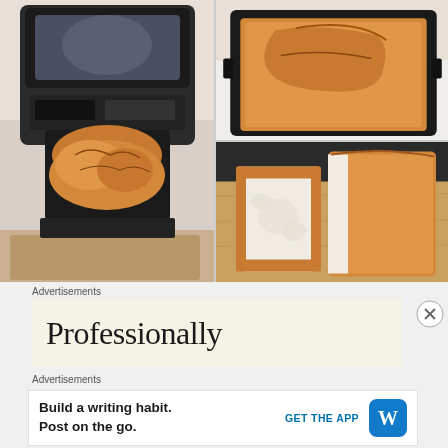[Figure (photo): Three photos of homemade bread: left large photo shows a bread loaf in a black baking pan inside a bread machine; top right photo shows the bread loaf in a black pan from above; bottom right photo shows sliced bread on a wooden cutting board.]
Advertisements
[Figure (screenshot): Advertisement banner with light yellow background showing the word 'Professionally' in large serif font, partially visible.]
[Figure (illustration): Close button (X in circle) for the advertisement.]
Advertisements
[Figure (screenshot): WordPress advertisement: 'Build a writing habit. Post on the go.' with GET THE APP button and WordPress logo.]